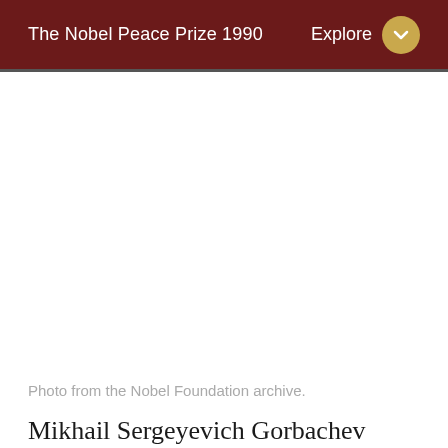The Nobel Peace Prize 1990
[Figure (photo): Photo of Nobel Prize laureate (blank/white area visible — photo placeholder from Nobel Foundation archive)]
Photo from the Nobel Foundation archive.
Mikhail Sergeyevich Gorbachev